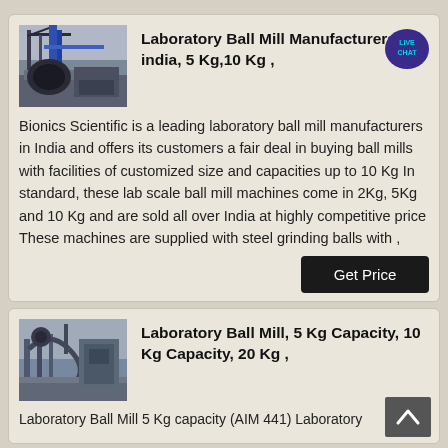[Figure (photo): Industrial laboratory ball mill machinery photograph]
Laboratory Ball Mill Manufacturers in india, 5 Kg,10 Kg ,
Bionics Scientific is a leading laboratory ball mill manufacturers in India and offers its customers a fair deal in buying ball mills with facilities of customized size and capacities up to 10 Kg In standard, these lab scale ball mill machines come in 2Kg, 5Kg and 10 Kg and are sold all over India at highly competitive price These machines are supplied with steel grinding balls with ,
[Figure (photo): Industrial piping and machinery photograph for Laboratory Ball Mill]
Laboratory Ball Mill, 5 Kg Capacity, 10 Kg Capacity, 20 Kg ,
Laboratory Ball Mill 5 Kg capacity (AIM 441) Laboratory